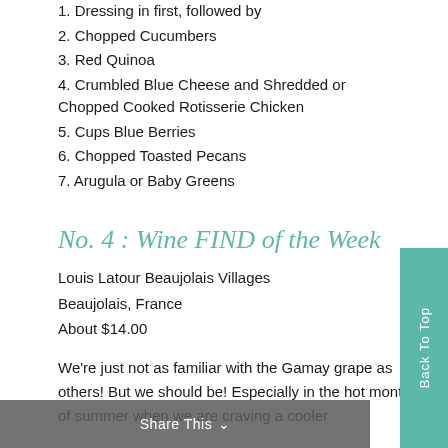1. Dressing in first, followed by
2. Chopped Cucumbers
3. Red Quinoa
4. Crumbled Blue Cheese and Shredded or Chopped Cooked Rotisserie Chicken
5. Cups Blue Berries
6. Chopped Toasted Pecans
7. Arugula or Baby Greens
No. 4 : Wine FIND of the Week
Louis Latour Beaujolais Villages
Beaujolais, France
About $14.00
We're just not as familiar with the Gamay grape as others! But we should be! Especially in the hot months of summer when we are craving a cooler
Share This